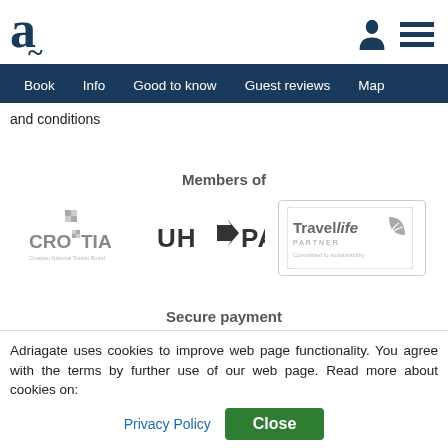Adriagate navigation header with logo and menu icons
Book | Info | Good to know | Guest reviews | Map
and conditions
Members of
[Figure (logo): Croatia National Tourist Board logo in greyscale]
[Figure (logo): UHPA logo in greyscale]
[Figure (logo): Travelife Partner - Committed to sustainability logo in greyscale]
Secure payment
Adriagate uses cookies to improve web page functionality. You agree with the terms by further use of our web page. Read more about cookies on:
Privacy Policy
Close